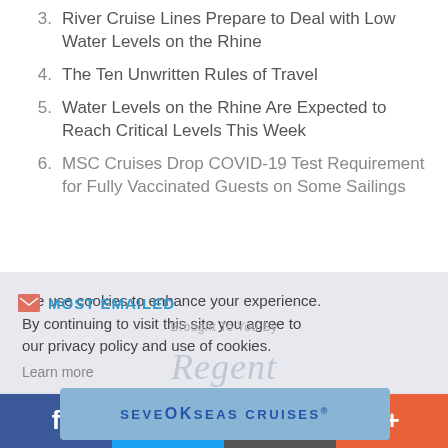3. River Cruise Lines Prepare to Deal with Low Water Levels on the Rhine
4. The Ten Unwritten Rules of Travel
5. Water Levels on the Rhine Are Expected to Reach Critical Levels This Week
6. MSC Cruises Drop COVID-19 Test Requirement for Fully Vaccinated Guests on Some Sailings
MOST EMAILED
Brought To You By
Regent Seven Seas Cruises
We use cookies to enhance your experience. By continuing to visit this site you agree to our privacy policy and use of cookies.
Learn more